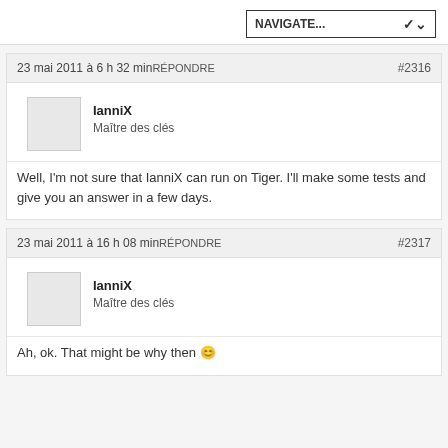NAVIGATE...
23 mai 2011 à 6 h 32 minRÉPONDRE #2316
IanniX
Maître des clés
Well, I'm not sure that IanniX can run on Tiger. I'll make some tests and give you an answer in a few days.
23 mai 2011 à 16 h 08 minRÉPONDRE #2317
IanniX
Maître des clés
Ah, ok. That might be why then 😊